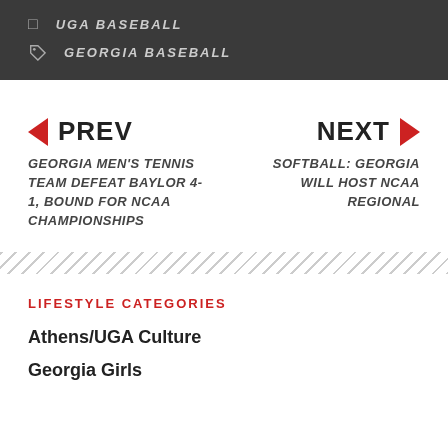UGA BASEBALL
GEORGIA BASEBALL
PREV
NEXT
GEORGIA MEN'S TENNIS TEAM DEFEAT BAYLOR 4-1, BOUND FOR NCAA CHAMPIONSHIPS
SOFTBALL: GEORGIA WILL HOST NCAA REGIONAL
LIFESTYLE CATEGORIES
Athens/UGA Culture
Georgia Girls